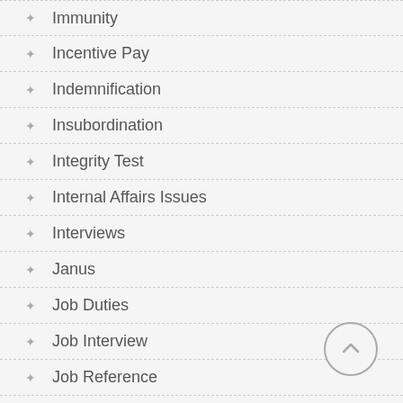Immunity
Incentive Pay
Indemnification
Insubordination
Integrity Test
Internal Affairs Issues
Interviews
Janus
Job Duties
Job Interview
Job Reference
Judicial Immunity